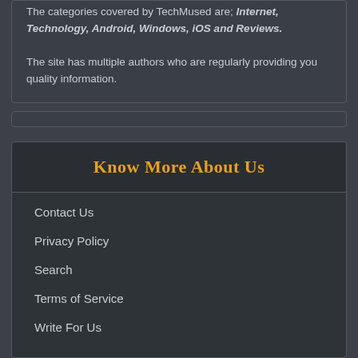The categories covered by TechMused are; Internet, Technology, Android, Windows, iOS and Reviews. The site has multiple authors who are regularly providing you quality information.
Know More About Us
Contact Us
Privacy Policy
Search
Terms of Service
Write For Us